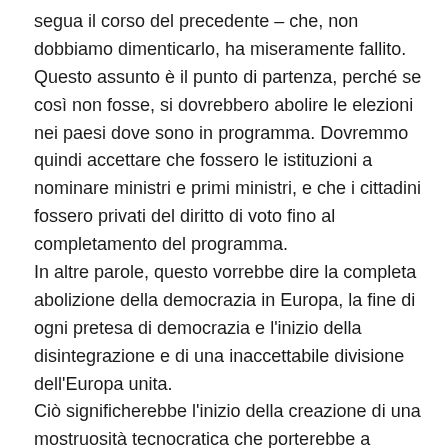segua il corso del precedente – che, non dobbiamo dimenticarlo, ha miseramente fallito. Questo assunto è il punto di partenza, perché se così non fosse, si dovrebbero abolire le elezioni nei paesi dove sono in programma. Dovremmo quindi accettare che fossero le istituzioni a nominare ministri e primi ministri, e che i cittadini fossero privati del diritto di voto fino al completamento del programma.
In altre parole, questo vorrebbe dire la completa abolizione della democrazia in Europa, la fine di ogni pretesa di democrazia e l'inizio della disintegrazione e di una inaccettabile divisione dell'Europa unita.
Ciò significherebbe l'inizio della creazione di una mostruosità tecnocratica che porterebbe a un'Europa del tutto estranea ai suoi principi fondanti.
La seconda strategia si propone proprio questo: la